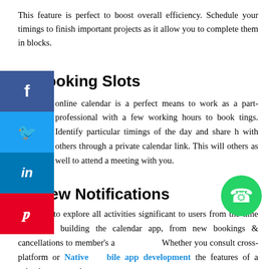This feature is perfect to boost overall efficiency. Schedule your timings to finish important projects as it allow you to complete them in blocks.
4. Booking Slots
online calendar is a perfect means to work as a part-professional with a few working hours to book tings. Identify particular timings of the day and share h with others through a private calendar link. This will others as well to attend a meeting with you.
5. View Notifications
It is easy to explore all activities significant to users from the time they start building the calendar app, from new bookings & cancellations to member's a Whether you consult cross-platform or Native Mobile app development the features of a calendar app are the same.